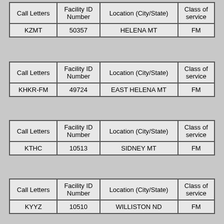| Call Letters | Facility ID Number | Location (City/State) | Class of service |
| --- | --- | --- | --- |
| KZMT | 50357 | HELENA MT | FM |
| Call Letters | Facility ID Number | Location (City/State) | Class of service |
| --- | --- | --- | --- |
| KHKR-FM | 49724 | EAST HELENA MT | FM |
| Call Letters | Facility ID Number | Location (City/State) | Class of service |
| --- | --- | --- | --- |
| KTHC | 10513 | SIDNEY MT | FM |
| Call Letters | Facility ID Number | Location (City/State) | Class of service |
| --- | --- | --- | --- |
| KYYZ | 10510 | WILLISTON ND | FM |
| Call Letters | Facility ID Number | Location (City/State) | Class of service |
| --- | --- | --- | --- |